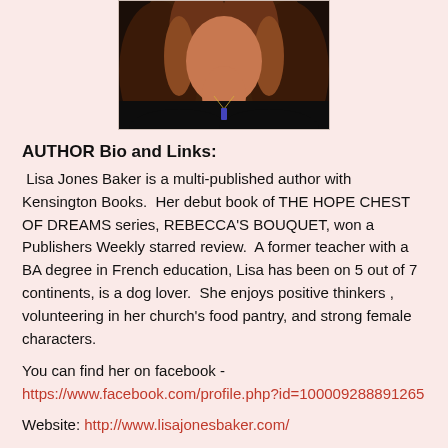[Figure (photo): Author headshot photo cropped at top showing woman with long wavy auburn/brown hair wearing a dark jacket and pendant necklace against a dark background]
AUTHOR Bio and Links:
Lisa Jones Baker is a multi-published author with Kensington Books.  Her debut book of THE HOPE CHEST OF DREAMS series, REBECCA'S BOUQUET, won a Publishers Weekly starred review.  A former teacher with a BA degree in French education, Lisa has been on 5 out of 7 continents, is a dog lover.  She enjoys positive thinkers , volunteering in her church's food pantry, and strong female characters.
You can find her on facebook - https://www.facebook.com/profile.php?id=100009288891265
Website: http://www.lisajonesbaker.com/